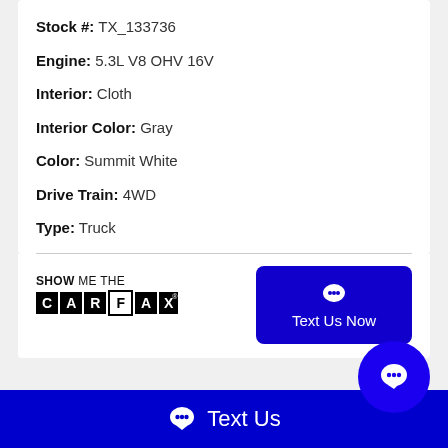Stock #: TX_133736
Engine: 5.3L V8 OHV 16V
Interior: Cloth
Interior Color: Gray
Color: Summit White
Drive Train: 4WD
Type: Truck
[Figure (logo): Show Me The CARFAX logo]
[Figure (other): Text Us Now button (blue rectangle with chat bubble icon)]
[Figure (other): Blue circle chat button with ellipsis icon]
Estimated By E.P.A.
Text Us